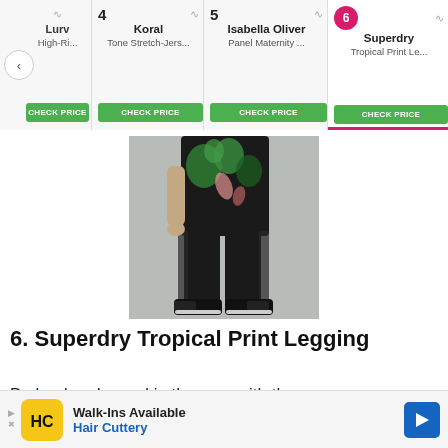[Figure (screenshot): Navigation carousel showing product items: Lurv High-Ri..., 4 Koral Tone Stretch-Jers..., 5 Isabella Oliver Panel Maternity..., 6 Superdry Tropical Print Le... (active, highlighted with pink badge and underline). Each item has a CHECK PRICE green button. A left arrow is visible on the left side.]
[Figure (photo): A person wearing Superdry Tropical Print Leggings with a floral/tropical print top half and black mesh lower half, paired with black sneakers, photographed from mid-torso down against a grey background.]
6. Superdry Tropical Print Legging
Be loud and proud in the gym with these
[Figure (screenshot): Advertisement banner for Hair Cuttery: 'Walk-Ins Available' with Hair Cuttery logo (yellow background with HC initials) and a blue direction arrow icon on the right.]